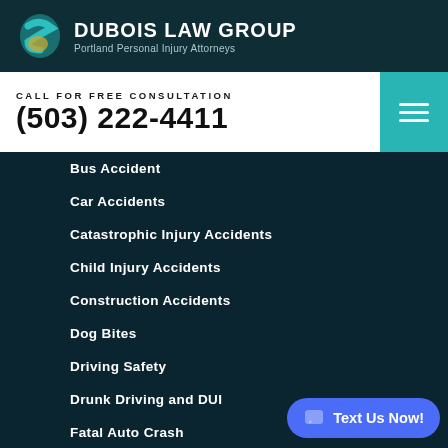[Figure (logo): Dubois Law Group logo with stylized S-shape in teal and gold]
DUBOIS LAW GROUP
Portland Personal Injury Attorneys
CALL FOR FREE CONSULTATION
(503) 222-4411
Bus Accident
Car Accidents
Catastrophic Injury Accidents
Child Injury Accidents
Construction Accidents
Dog Bites
Driving Safety
Drunk Driving and DUI
Fatal Auto Crash